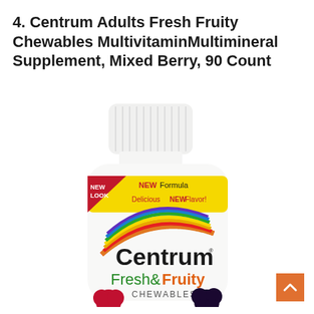4. Centrum Adults Fresh Fruity Chewables MultivitaminMultimineral Supplement, Mixed Berry, 90 Count
[Figure (photo): Centrum Fresh & Fruity Chewables multivitamin supplement bottle, white with yellow label band showing 'NEW Formula' and 'Delicious NEW Flavor!', a red 'NEW LOOK' banner, rainbow arc logo, and mixed berry imagery at the bottom]